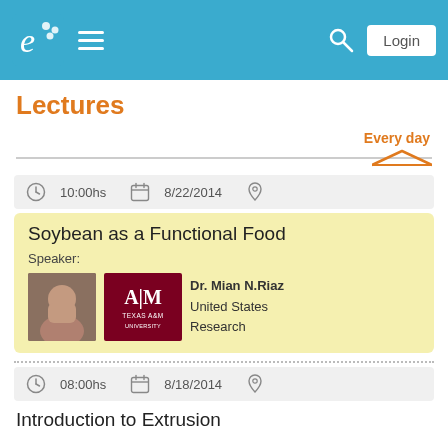e [logo] ≡ [Search] Login
Lectures
Every day
10:00hs   8/22/2014
Soybean as a Functional Food
Speaker: Dr. Mian N.Riaz, United States, Research
08:00hs   8/18/2014
Introduction to Extrusion